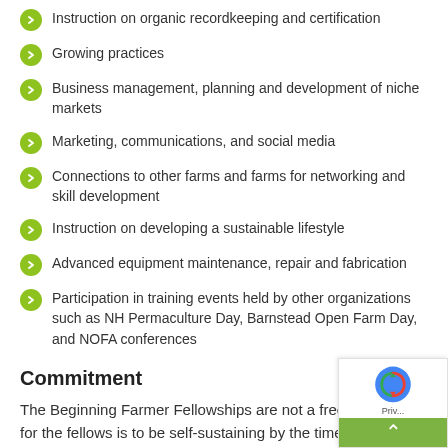Instruction on organic recordkeeping and certification
Growing practices
Business management, planning and development of niche markets
Marketing, communications, and social media
Connections to other farms and farms for networking and skill development
Instruction on developing a sustainable lifestyle
Advanced equipment maintenance, repair and fabrication
Participation in training events held by other organizations such as NH Permaculture Day, Barnstead Open Farm Day, and NOFA conferences
Commitment
The Beginning Farmer Fellowships are not a free ride. A goal for the fellows is to be self-sustaining by the time they leave the fellowship. Fellows are expected to